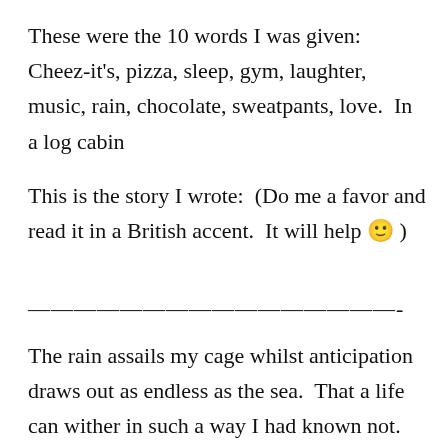These were the 10 words I was given:  Cheez-it's, pizza, sleep, gym, laughter, music, rain, chocolate, sweatpants, love.  In a log cabin
This is the story I wrote:  (Do me a favor and read it in a British accent.  It will help 🙂 )
————————————————-
The rain assails my cage whilst anticipation draws out as endless as the sea.  That a life can wither in such a way I had known not.  Had it come to me by word or by way perhaps I would have been better prepared for such desolation. Alas, I only got